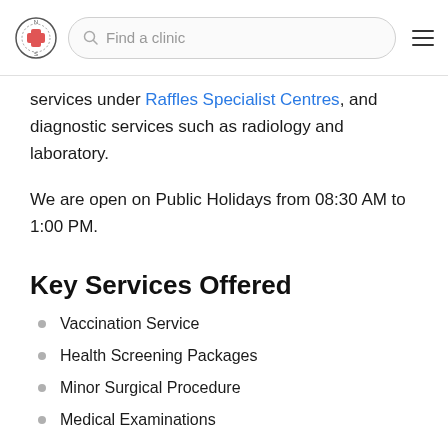Find a clinic
services under Raffles Specialist Centres, and diagnostic services such as radiology and laboratory.
We are open on Public Holidays from 08:30 AM to 1:00 PM.
Key Services Offered
Vaccination Service
Health Screening Packages
Minor Surgical Procedure
Medical Examinations